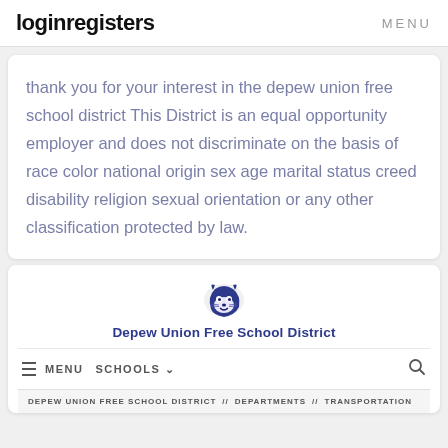loginregisters   MENU
thank you for your interest in the depew union free school district This District is an equal opportunity employer and does not discriminate on the basis of race color national origin sex age marital status creed disability religion sexual orientation or any other classification protected by law.
[Figure (logo): Depew Union Free School District panther mascot logo]
Depew Union Free School District
≡ MENU   SCHOOLS ∨   🔍
DEPEW UNION FREE SCHOOL DISTRICT // DEPARTMENTS // TRANSPORTATION